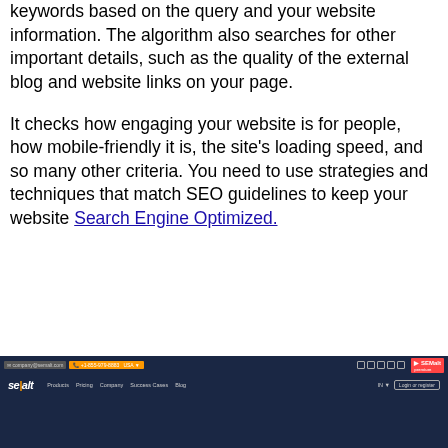keywords based on the query and your website information. The algorithm also searches for other important details, such as the quality of the external blog and website links on your page.
It checks how engaging your website is for people, how mobile-friendly it is, the site's loading speed, and so many other criteria. You need to use strategies and techniques that match SEO guidelines to keep your website Search Engine Optimized.
[Figure (screenshot): Screenshot of the Semalt website homepage showing the navigation bar with logo, menu items (Products, Pricing, Company, Success Cases, Blog), a phone number button, social media icons, and the Semalt logo badge. The hero area shows a dark blue background with a partially visible person.]